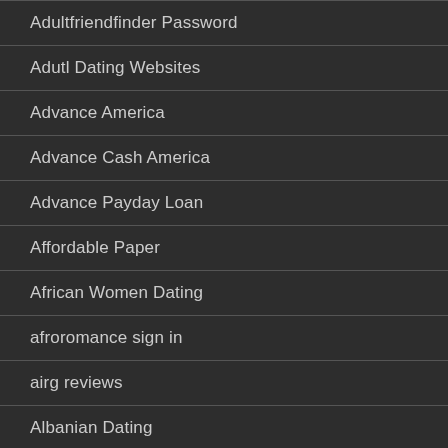Adultfriendfinder Password
Adutl Dating Websites
Advance America
Advance Cash America
Advance Payday Loan
Affordable Paper
African Women Dating
afroromance sign in
airg reviews
Albanian Dating
all free dating sites
alldate